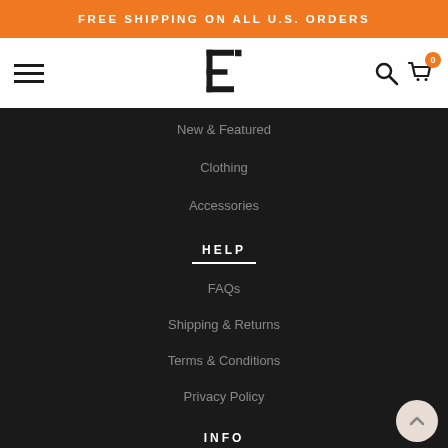FREE SHIPPING ON ALL U.S. ORDERS
[Figure (logo): Store logo mark - stylized 'bi' letterform in black]
New & Featured
Clothing
Accessories
HELP
FAQs
Shipping & Returns
Terms & Conditions
Privacy Policy
INFO